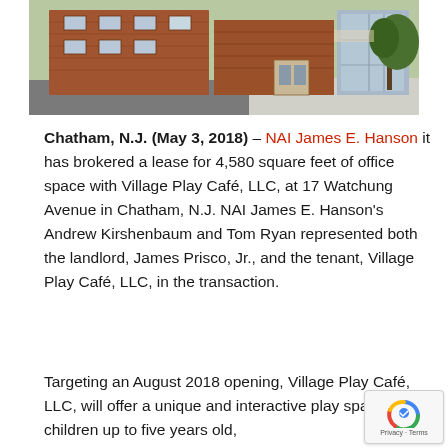[Figure (photo): Exterior photo of a two-story brick office building with parking lot in foreground and trees in background.]
Chatham, N.J. (May 3, 2018) – NAI James E. Hanson it has brokered a lease for 4,580 square feet of office space with Village Play Café, LLC, at 17 Watchung Avenue in Chatham, N.J. NAI James E. Hanson's Andrew Kirshenbaum and Tom Ryan represented both the landlord, James Prisco, Jr., and the tenant, Village Play Café, LLC, in the transaction.
Targeting an August 2018 opening, Village Play Café, LLC, will offer a unique and interactive play space for children up to five years old,